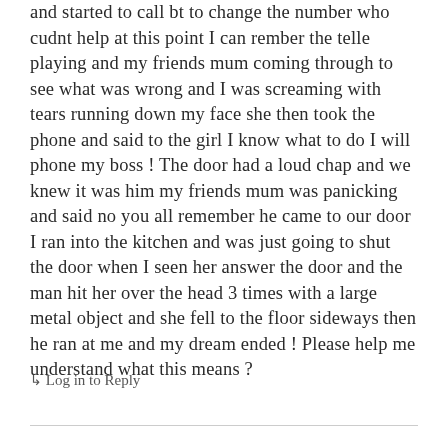and started to call bt to change the number who cudnt help at this point I can rember the telle playing and my friends mum coming through to see what was wrong and I was screaming with tears running down my face she then took the phone and said to the girl I know what to do I will phone my boss ! The door had a loud chap and we knew it was him my friends mum was panicking and said no you all remember he came to our door I ran into the kitchen and was just going to shut the door when I seen her answer the door and the man hit her over the head 3 times with a large metal object and she fell to the floor sideways then he ran at me and my dream ended ! Please help me understand what this means ?
↳ Log in to Reply